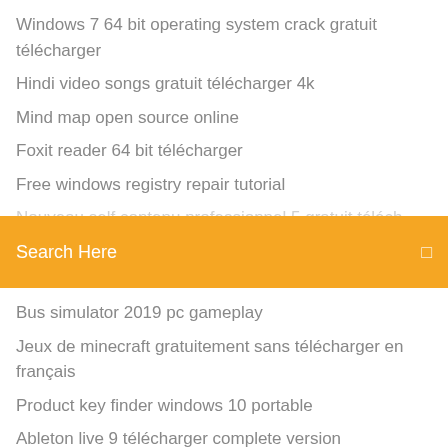Windows 7 64 bit operating system crack gratuit télécharger
Hindi video songs gratuit télécharger 4k
Mind map open source online
Foxit reader 64 bit télécharger
Free windows registry repair tutorial
(partially visible item)
[Figure (other): Orange search bar with text 'Search Here' and a search icon on the right]
Bus simulator 2019 pc gameplay
Jeux de minecraft gratuitement sans télécharger en français
Product key finder windows 10 portable
Ableton live 9 télécharger complete version
Baixar vlc media player gratis
Logiciel bloque les pub
Live stream cricket iphone and android
Application qui reconnait les titre de musique
Installer google play gratuit pour pc